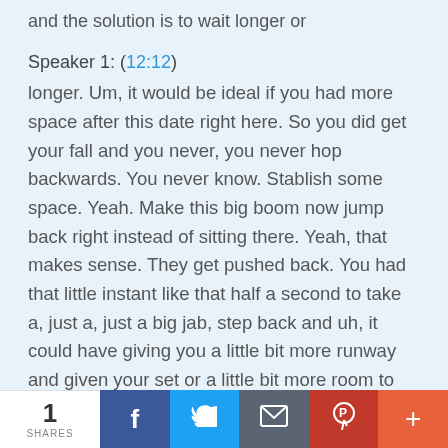and the solution is to wait longer or
Speaker 1: (12:12)
longer. Um, it would be ideal if you had more space after this date right here. So you did get your fall and you never, you never hop backwards. You never know. Stablish some space. Yeah. Make this big boom now jump back right instead of sitting there. Yeah, that makes sense. They get pushed back. You had that little instant like that half a second to take a, just a, just a big jab, step back and uh, it could have giving you a little bit more runway and given your set or a little bit more room to lead you.
1 SHARES | Facebook | Twitter | Email | Pinterest | More